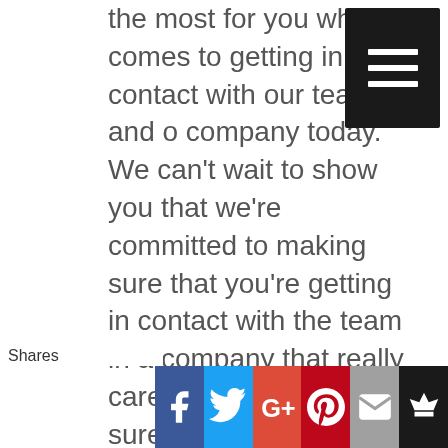the most for you when it comes to getting in contact with our team and our company today. We can't wait to show you that we're committed to making sure that you're getting in contact with the team in a company that really cares about making sure we're giving you so much quality out of our services today. Getting in contact with us and speaking to our companies really going to help you understand that we're really going to be the next that people want to take to get quality services with our company today. That is I we can't wait to show you that we're always gonna do the most and were also gonna make sure be giving you
[Figure (other): Hamburger menu button (dark square with three white horizontal lines)]
Shares | Facebook | Twitter | Google+ | Pinterest | Email | Crown